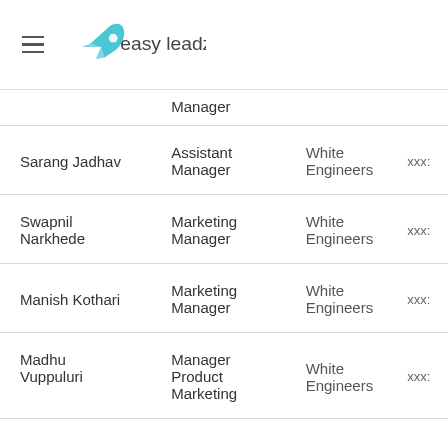easy leadz
| Name | Role | Company | Contact |
| --- | --- | --- | --- |
|  | Manager |  |  |
| Sarang Jadhav | Assistant Manager | White Engineers | xxx |
| Swapnil Narkhede | Marketing Manager | White Engineers | xxx |
| Manish Kothari | Marketing Manager | White Engineers | xxx |
| Madhu Vuppuluri | Manager Product Marketing | White Engineers | xxx |